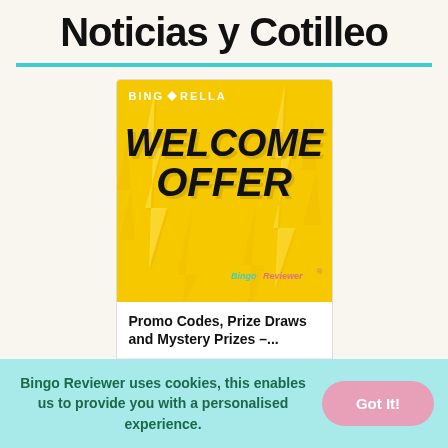Noticias y Cotilleo
[Figure (illustration): Bingorella welcome offer advertisement card showing yellow background with lightning bolts, bold italic text 'WELCOME OFFER', Bingorella branding at top, and Bingo Reviewer logo at bottom right]
Promo Codes, Prize Draws and Mystery Prizes –...
16th August
Bingo Reviewer uses cookies, this enables us to provide you with a personalised experience.